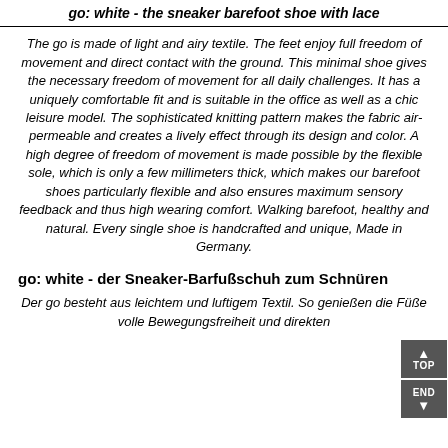go: white - the sneaker barefoot shoe with lace
The go is made of light and airy textile. The feet enjoy full freedom of movement and direct contact with the ground. This minimal shoe gives the necessary freedom of movement for all daily challenges. It has a uniquely comfortable fit and is suitable in the office as well as a chic leisure model. The sophisticated knitting pattern makes the fabric air-permeable and creates a lively effect through its design and color. A high degree of freedom of movement is made possible by the flexible sole, which is only a few millimeters thick, which makes our barefoot shoes particularly flexible and also ensures maximum sensory feedback and thus high wearing comfort. Walking barefoot, healthy and natural. Every single shoe is handcrafted and unique, Made in Germany.
go: white - der Sneaker-Barfußschuh zum Schnüren
Der go besteht aus leichtem und luftigem Textil. So genießen die Füße volle Bewegungsfreiheit und direkten